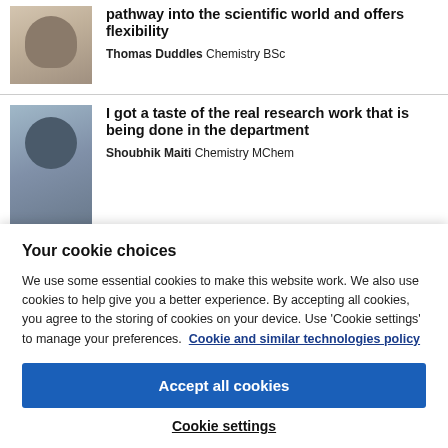[Figure (photo): Profile photo of Thomas Duddles - young man in black t-shirt]
pathway into the scientific world and offers flexibility
Thomas Duddles Chemistry BSc
[Figure (photo): Profile photo of Shoubhik Maiti - man in blue jacket outdoors]
I got a taste of the real research work that is being done in the department
Shoubhik Maiti Chemistry MChem
Your cookie choices
We use some essential cookies to make this website work. We also use cookies to help give you a better experience. By accepting all cookies, you agree to the storing of cookies on your device. Use 'Cookie settings' to manage your preferences. Cookie and similar technologies policy
Accept all cookies
Cookie settings